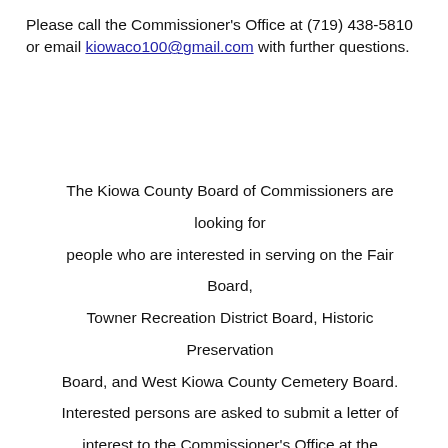Please call the Commissioner's Office at (719) 438-5810 or email kiowaco100@gmail.com with further questions.
The Kiowa County Board of Commissioners are looking for people who are interested in serving on the Fair Board, Towner Recreation District Board, Historic Preservation Board, and West Kiowa County Cemetery Board. Interested persons are asked to submit a letter of interest to the Commissioner's Office at the courthouse, 1305 Goff Street or mail it to PO Box 100 Eads, CO or email it to kiowaco100@gmail.com